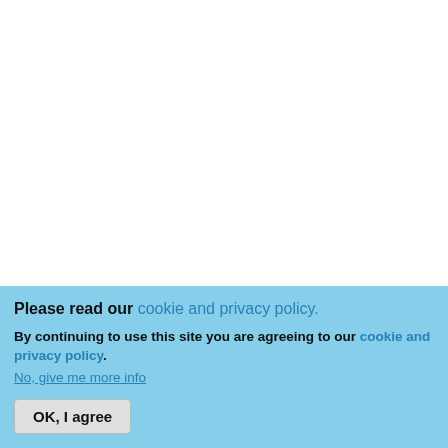it was so t[...] around the [...] the lens so [...] except for [...] gasket tha[...]
I removed [...] silicone se[...] of the lens[...]
Then I tes[...] (feet sea w[...]) to note at [...] the failure [...] me of cour[...]
Initially, I t[...]
Please read our cookie and privacy policy.
By continuing to use this site you are agreeing to our cookie and privacy policy. No, give me more info
OK, I agree